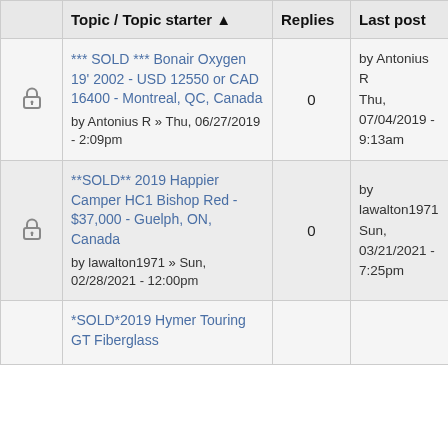|  | Topic / Topic starter | Replies | Last post |
| --- | --- | --- | --- |
| [locked] | *** SOLD *** Bonair Oxygen 19' 2002 - USD 12550 or CAD 16400 - Montreal, QC, Canada
by Antonius R » Thu, 06/27/2019 - 2:09pm | 0 | by Antonius R
Thu, 07/04/2019 - 9:13am |
| [locked] | **SOLD** 2019 Happier Camper HC1 Bishop Red - $37,000 - Guelph, ON, Canada
by lawalton1971 » Sun, 02/28/2021 - 12:00pm | 0 | by lawalton1971
Sun, 03/21/2021 - 7:25pm |
|  | *SOLD*2019 Hymer Touring GT Fiberglass... |  |  |